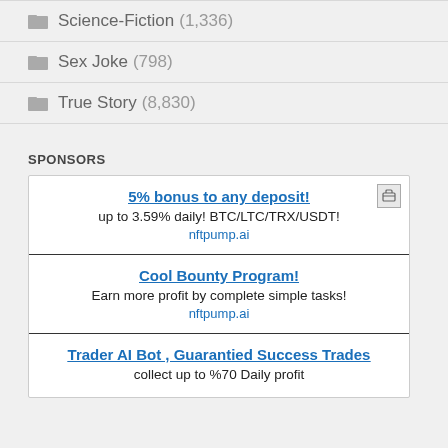Science-Fiction (1,336)
Sex Joke (798)
True Story (8,830)
SPONSORS
5% bonus to any deposit!
up to 3.59% daily! BTC/LTC/TRX/USDT!
nftpump.ai
Cool Bounty Program!
Earn more profit by complete simple tasks!
nftpump.ai
Trader AI Bot , Guarantied Success Trades
collect up to %70 Daily profit